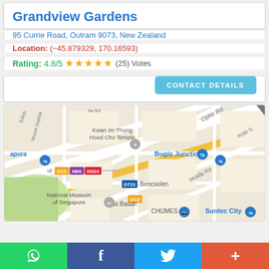Grandview Gardens
95 Currie Road, Outram 9073, New Zealand
Location: (−45.879329, 170.16593)
Rating: 4.8/5 ★★★★★ (25) Votes
[Figure (map): Street map showing area around National Museum of Singapore, Bugis Junction, Kwan Im Thong Hood Cho Temple, CHIJMES, Suntec City, Bencoolen MRT, Bras Basah MRT, with transit lines CC1, NE6, NS24, DT21, CC2]
Social share bar: WhatsApp, Facebook, Twitter, More (+)